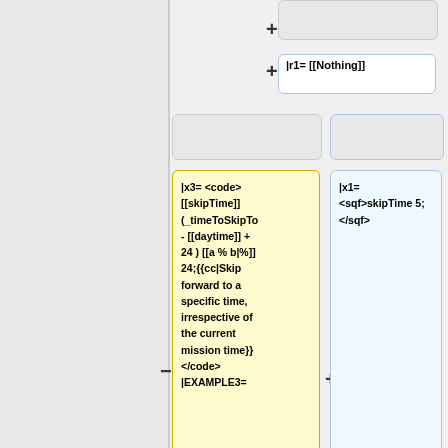+ (top right empty box)
+ |r1= [[Nothing]]
|x3= <code>[[skipTime]] (_timeToSkipTo - [[daytime]] + 24 ) [[a % b|%]] 24;{{cc|Skip forward to a specific time, irrespective of the current mission time}}</code> |EXAMPLE3=
|x1= <sqf>skipTime 5;</sqf>
|x2=
1 sqft skipTime